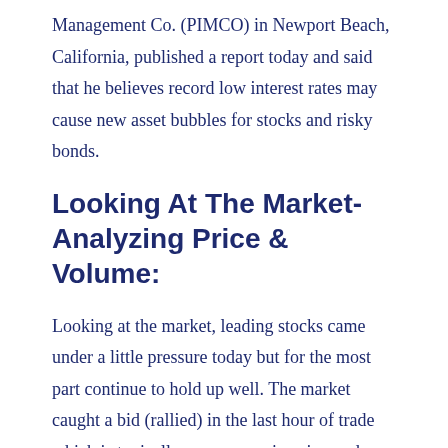Management Co. (PIMCO) in Newport Beach, California, published a report today and said that he believes record low interest rates may cause new asset bubbles for stocks and risky bonds.
Looking At The Market-Analyzing Price & Volume:
Looking at the market, leading stocks came under a little pressure today but for the most part continue to hold up well. The market caught a bid (rallied) in the last hour of trade which is typically an encouraging sign and shows that buyers are still out there and willing to show up and defend support. Highly liquid technology stocks continue to be an important area of strength as investors continue to